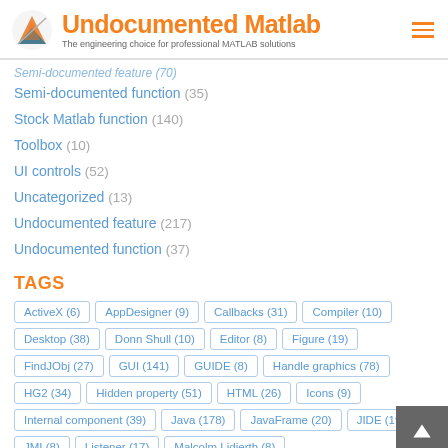Undocumented Matlab — The engineering choice for professional MATLAB solutions
Semi-documented feature (70) [cut off]
Semi-documented function (35)
Stock Matlab function (140)
Toolbox (10)
UI controls (52)
Uncategorized (13)
Undocumented feature (217)
Undocumented function (37)
TAGS
ActiveX (6)
AppDesigner (9)
Callbacks (31)
Compiler (10)
Desktop (38)
Donn Shull (10)
Editor (8)
Figure (19)
FindJObj (27)
GUI (141)
GUIDE (8)
Handle graphics (78)
HG2 (34)
Hidden property (51)
HTML (26)
Icons (9)
Internal component (39)
Java (178)
JavaFrame (20)
JIDE (19)
JMI (8)
Listener (17)
Malcolm Lidierth (8)